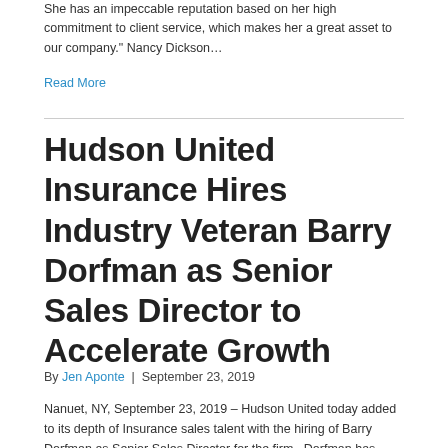She has an impeccable reputation based on her high commitment to client service, which makes her a great asset to our company." Nancy Dickson…
Read More
Hudson United Insurance Hires Industry Veteran Barry Dorfman as Senior Sales Director to Accelerate Growth
By Jen Aponte | September 23, 2019
Nanuet, NY, September 23, 2019 – Hudson United today added to its depth of Insurance sales talent with the hiring of Barry Dorfman as Senior Sales Director for the firm. Dorfman has more